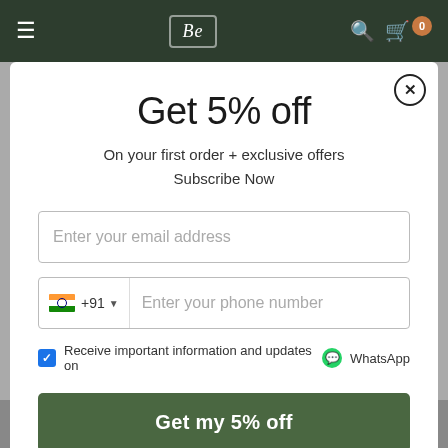[Figure (screenshot): Website navigation bar with dark green background, logo box, search icon, and cart icon with badge]
Get 5% off
On your first order + exclusive offers
Subscribe Now
Enter your email address
+91  Enter your phone number
Receive important information and updates on WhatsApp
Get my 5% off